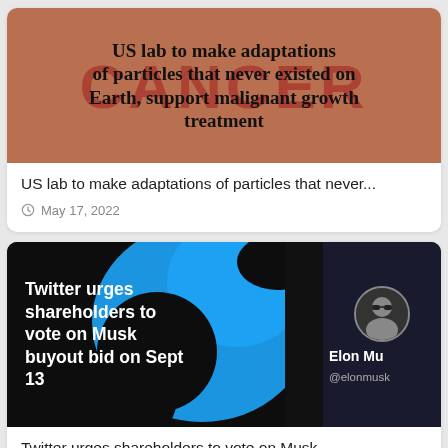[Figure (photo): Brown/tan background with large semi-transparent red CANCER text behind a bold black headline: US lab to make adaptations of particles that never existed on Earth, support malignant growth treatment]
US lab to make adaptations of particles that never...
May 17, 2022
[Figure (photo): Dark background with Twitter bird logo in blue, white bold text on left: Twitter urges shareholders to vote on Musk buyout bid on Sept 13. Right side shows Elon Musk profile with name Elon Mu and handle @elonmusk.]
Twitter urges shareholders to vote on Musk...